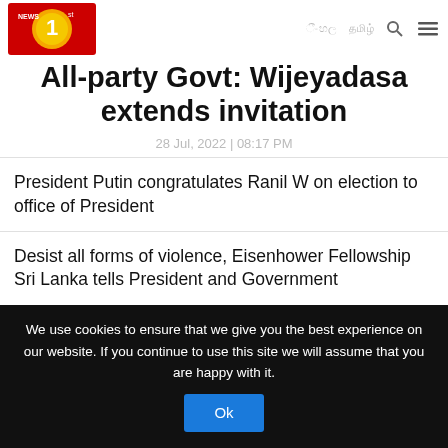NEWS 1st | සිංහල | தமிழ் [search] [menu]
All-party Govt: Wijeyadasa extends invitation
28 Jul, 2022 | 08:17 PM
President Putin congratulates Ranil W on election to office of President
Desist all forms of violence, Eisenhower Fellowship Sri Lanka tells President and Government
We use cookies to ensure that we give you the best experience on our website. If you continue to use this site we will assume that you are happy with it.